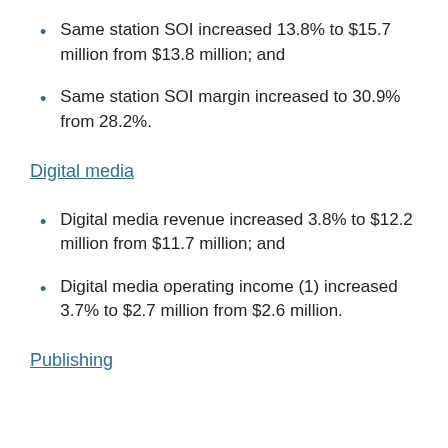Same station SOI increased 13.8% to $15.7 million from $13.8 million; and
Same station SOI margin increased to 30.9% from 28.2%.
Digital media
Digital media revenue increased 3.8% to $12.2 million from $11.7 million; and
Digital media operating income (1) increased 3.7% to $2.7 million from $2.6 million.
Publishing